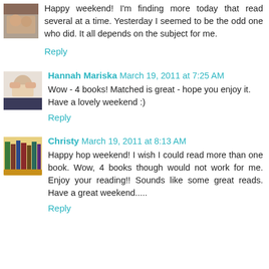Happy weekend! I'm finding more today that read several at a time. Yesterday I seemed to be the odd one who did. It all depends on the subject for me.
Reply
Hannah Mariska  March 19, 2011 at 7:25 AM
Wow - 4 books! Matched is great - hope you enjoy it. Have a lovely weekend :)
Reply
Christy  March 19, 2011 at 8:13 AM
Happy hop weekend! I wish I could read more than one book. Wow, 4 books though would not work for me. Enjoy your reading!! Sounds like some great reads. Have a great weekend.....
Reply